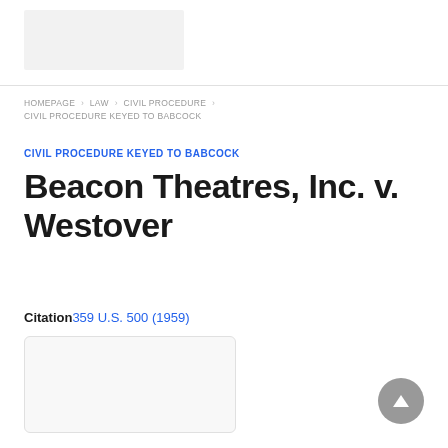HOMEPAGE > LAW > CIVIL PROCEDURE > CIVIL PROCEDURE KEYED TO BABCOCK
CIVIL PROCEDURE KEYED TO BABCOCK
Beacon Theatres, Inc. v. Westover
Citation 359 U.S. 500 (1959)